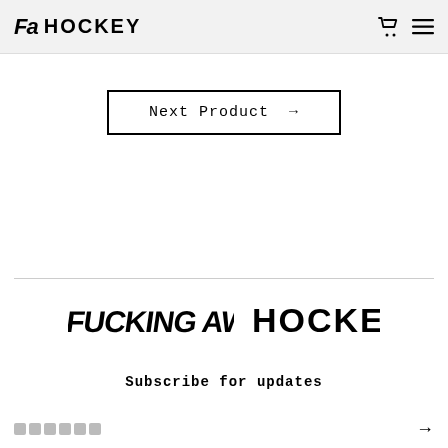FA HOCKEY
Next Product →
[Figure (logo): FUCKING AWESOME and HOCKEY brand logos side by side]
Subscribe for updates